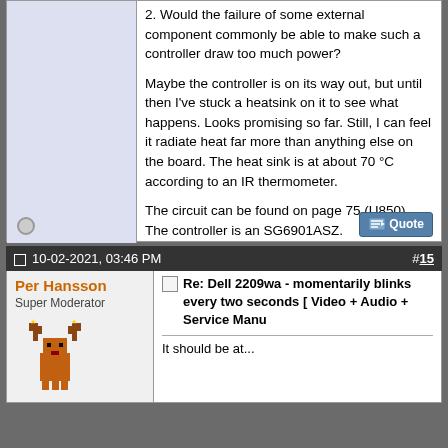2. Would the failure of some external component commonly be able to make such a controller draw too much power?

Maybe the controller is on its way out, but until then I've stuck a heatsink on it to see what happens. Looks promising so far. Still, I can feel it radiate heat far more than anything else on the board. The heat sink is at about 70 °C according to an IR thermometer.

The circuit can be found on page 75 (U850). The controller is an SG6901ASZ.
10-02-2021, 03:46 PM   #15
Per Hansson
Super Moderator
Re: Dell 2209wa - momentarily blinks every two seconds [ Video + Audio + Service Manu

It should be at...